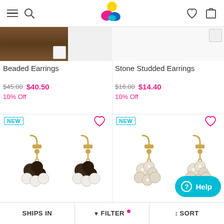Navigation header with menu, search, logo, wishlist, and cart icons
[Figure (photo): Partial product image of beaded earrings on wooden background]
[Figure (photo): Partial product image of stone studded earrings]
Beaded Earrings
Stone Studded Earrings
$45.00 $40.50
10% Off
$16.00 $14.40
10% Off
[Figure (photo): NEW tagged pearl and crystal beaded drop earrings (pair shown), gold tone]
[Figure (photo): NEW tagged crystal rhinestone drop earrings (pair shown), gold tone]
SHIPS IN   ▼ FILTER   ↕ SORT